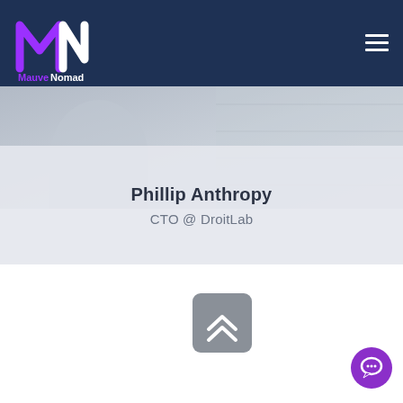[Figure (logo): Mauve Nomad logo — stylized purple and white M/N lettermark with text 'Mauve Nomad' below, on dark navy background]
[Figure (screenshot): Profile page screenshot showing a person's header image area in grey-blue tones]
Phillip Anthropy
CTO @ DroitLab
[Figure (illustration): Scroll-to-top button — grey rounded square with double chevron up arrow icon]
[Figure (illustration): Purple circular chat/messenger button in bottom right corner]